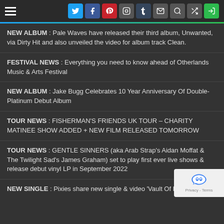Navigation header with hamburger menu and social icons: Twitter, Facebook, Pinterest, Instagram, Tumblr, Email, Search, Shuffle, Login
NEW ALBUM : Pale Waves have released their third album, Unwanted, via Dirty Hit and also unveiled the video for album track Clean.
FESTIVAL NEWS : Everything you need to know ahead of Otherlands Music & Arts Festival
NEW ALBUM : Jake Bugg Celebrates 10 Year Anniversary Of Double-Platinum Debut Album
TOUR NEWS : FISHERMAN'S FRIENDS UK TOUR – CHARITY MATINEE SHOW ADDED + NEW FILM RELEASED TOMORROW
TOUR NEWS : GENTLE SINNERS (aka Arab Strap's Aidan Moffat & The Twilight Sad's James Graham) set to play first ever live shows & release debut vinyl LP in September 2022
NEW SINGLE : Pixies share new single & video 'Vault Of Heaven'